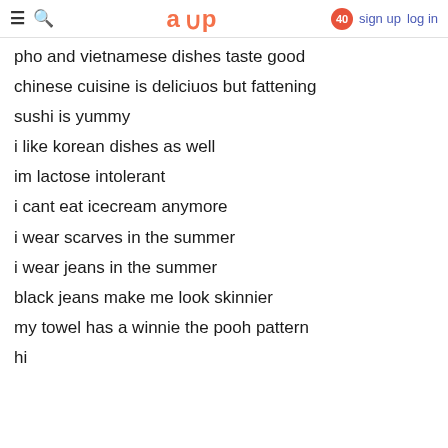≡ 🔍 aup 40 sign up log in
pho and vietnamese dishes taste good
chinese cuisine is deliciuos but fattening
sushi is yummy
i like korean dishes as well
im lactose intolerant
i cant eat icecream anymore
i wear scarves in the summer
i wear jeans in the summer
black jeans make me look skinnier
my towel has a winnie the pooh pattern
hi